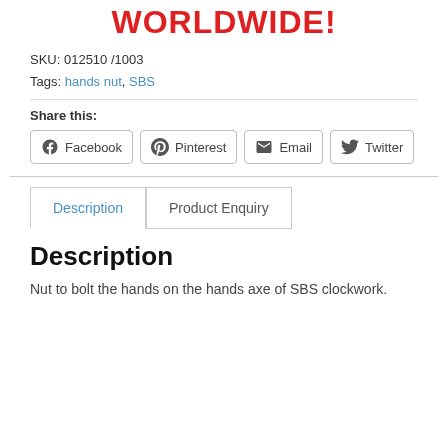WORLDWIDE!
SKU: 012510 /1003
Tags: hands nut, SBS
Share this:
Facebook  Pinterest  Email  Twitter
Description
Nut to bolt the hands on the hands axe of SBS clockwork.